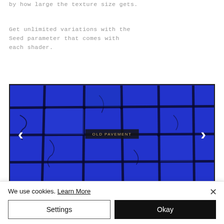by how large the texture size gets.
Get unlimited variations with the Seed parameter that comes with each shader.
[Figure (photo): Blue tiled pavement texture with dark grout lines, shown in an image carousel with left and right navigation arrows and a centered label 'OLD PAVEMENT']
DISPLACEMENT
Get b...ase condition add...
We use cookies. Learn More
Settings
Okay